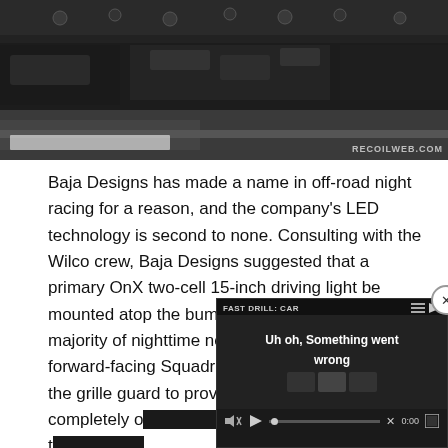[Figure (photo): Close-up photo of a vehicle undercarriage or engine bay, dark tones, with a 'RECOILWEB.COM' watermark in the lower right.]
Baja Designs has made a name in off-road night racing for a reason, and the company's LED technology is second to none. Consulting with the Wilco crew, Baja Designs suggested that a primary OnX two-cell 15-inch driving light be mounted atop the bumper guard to provide the majority of nighttime needs. Additionally, two forward-facing Squadron 3-inch LEDs wo[uld be mounted in] the grille guard to provide [auxiliary light] while staying completely o[ut of sight. The] lights were mounted and t[he system was then]
[Figure (screenshot): Video player overlay showing 'FAST DRILL: CAR' title and an error message 'Uh oh, Something went wrong' with playback controls at 0:00.]